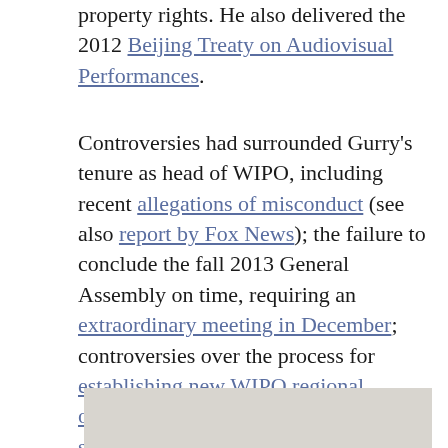property rights. He also delivered the 2012 Beijing Treaty on Audiovisual Performances.
Controversies had surrounded Gurry's tenure as head of WIPO, including recent allegations of misconduct (see also report by Fox News); the failure to conclude the fall 2013 General Assembly on time, requiring an extraordinary meeting in December; controversies over the process for establishing new WIPO regional offices; and the (later resolved) shipment of computer equipment to North Korea and Iran. Some Members of US Congress have opposed his reappointment.
[Figure (photo): A partially visible image with a light beige/gray background, cropped at the bottom of the page.]